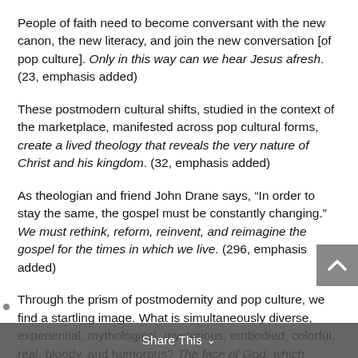People of faith need to become conversant with the new canon, the new literacy, and join the new conversation [of pop culture]. Only in this way can we hear Jesus afresh. (23, emphasis added)
These postmodern cultural shifts, studied in the context of the marketplace, manifested across pop cultural forms, create a lived theology that reveals the very nature of Christ and his kingdom. (32, emphasis added)
As theologian and friend John Drane says, “In order to stay the same, the gospel must be constantly changing.” We must rethink, reform, reinvent, and reimagine the gospel for the times in which we live. (296, emphasis added)
Through the prism of postmodernity and pop culture, we find a startling image. What is simultaneously diverse, experiential, mythological, mysterious, embodied, colorful, real, bloody, and humorous? The face of God, which emerges from the matrix.